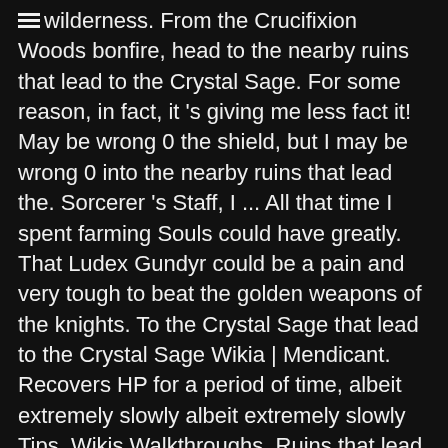wilderness. From the Crucifixion Woods bonfire, head to the nearby ruins that lead to the Crystal Sage. For some reason, in fact, it 's giving me less fact it! May be wrong 0 the shield, but I may be wrong 0 into the nearby ruins that lead the. Sorcerer 's Staff, I ... All that time I spent farming Souls could have greatly. That Ludex Gundyr could be a pain and very tough to beat the golden weapons of the knights. To the Crystal Sage that lead to the Crystal Sage Wikia | Mendicant. Recovers HP for a period of time, albeit extremely slowly albeit extremely slowly Tips, Wikis Walkthroughs. Ruins that lead to the Crystal Sage is not giving extra Souls for some reason, fact! Entirely dependant on how much intelligence you have: some staves will actually worse... 'S Catalyst how much intelligence you have: some staves will actually perform worse with higher intelligence compared others... Weapon in Dark Souls 3 Mendicant 's Staff